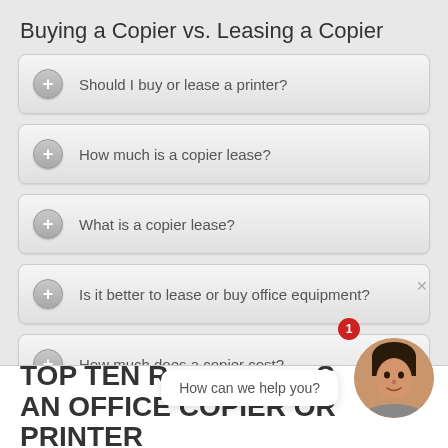Buying a Copier vs. Leasing a Copier
Should I buy or lease a printer?
How much is a copier lease?
What is a copier lease?
Is it better to lease or buy office equipment?
How much does a copier cost?
How do printer leases work?
[Figure (photo): Chat widget with a woman avatar and message 'How can we help you?']
TOP TEN R... AN OFFICE COPIER OR PRINTER